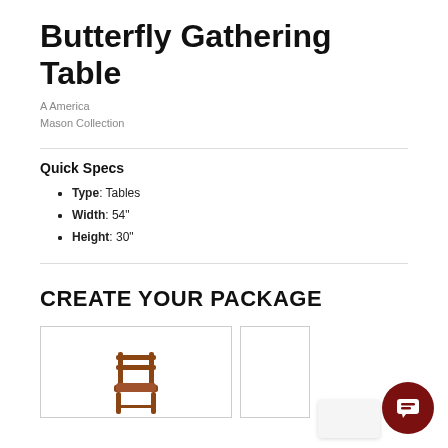Butterfly Gathering Table
A America
Mason Collection
Quick Specs
Type: Tables
Width: 54"
Height: 30"
CREATE YOUR PACKAGE
[Figure (photo): A wooden chair with a brown finish shown in a white product card]